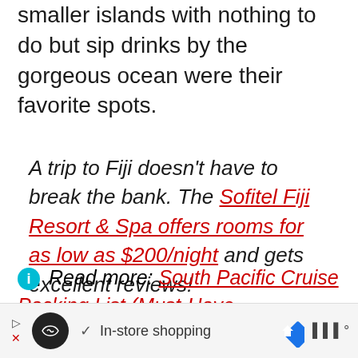smaller islands with nothing to do but sip drinks by the gorgeous ocean were their favorite spots.
A trip to Fiji doesn't have to break the bank. The Sofitel Fiji Resort & Spa offers rooms for as low as $200/night and gets excellent reviews!
Read more: South Pacific Cruise Packing List (Must-Have Essentials!) & 17 Days in the South Pacific With
[Figure (other): Advertisement bar at bottom with shopping icons and 'In-store shopping' text]